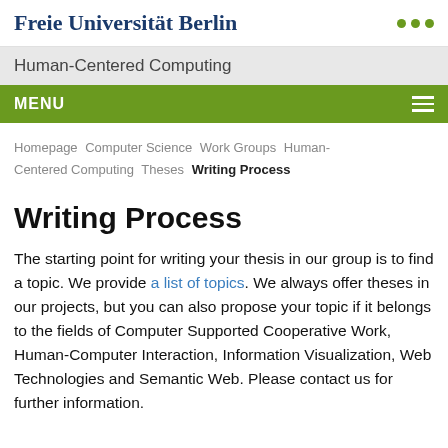Freie Universität Berlin
Human-Centered Computing
MENU
Homepage  Computer Science  Work Groups  Human-Centered Computing  Theses  Writing Process
Writing Process
The starting point for writing your thesis in our group is to find a topic. We provide a list of topics. We always offer theses in our projects, but you can also propose your topic if it belongs to the fields of Computer Supported Cooperative Work, Human-Computer Interaction, Information Visualization, Web Technologies and Semantic Web. Please contact us for further information.